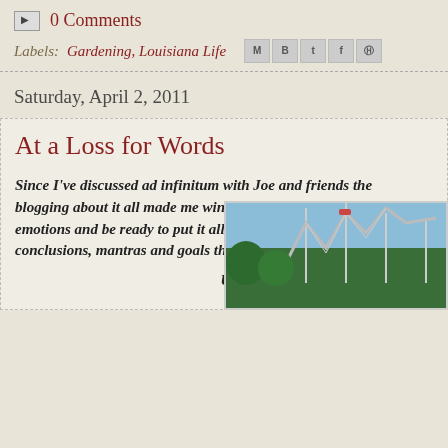0 Comments
Labels: Gardening, Louisiana Life
Saturday, April 2, 2011
At a Loss for Words
Since I've discussed ad infinitum with Joe and friends the blogging about it all made me wince.  Each time that I'd emotions and be ready to put it all into words fit to read conclusions, mantras and goals that no longer fit the si
Using a "word picture,"  here is w
[Figure (photo): Photo of a roller coaster with trees and sky in the background]